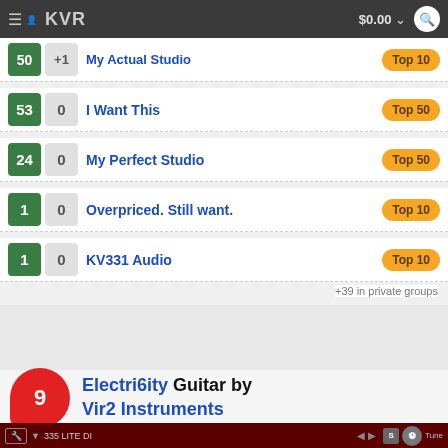KVR — $0.00
50 +1 My Actual Studio — Top 10
53 0 I Want This — Top 50
24 0 My Perfect Studio — Top 50
1 0 Overpriced. Still want. — Top 10
1 0 KV331 Audio — Top 10
+39 in private groups
Electri6ity Guitar by Vir2 Instruments
[Figure (screenshot): Bottom bar of the Electri6ity plugin interface showing 335 LITE DI preset name and controls]